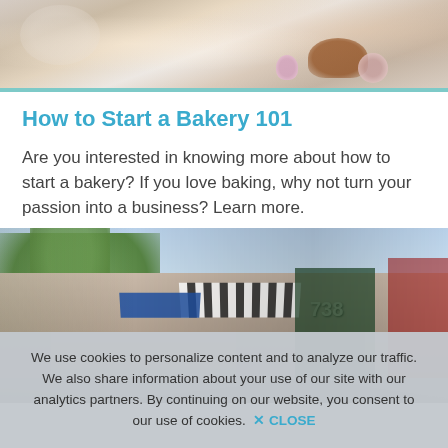[Figure (photo): Photo of baked goods including cupcakes and a decorated chocolate cake being served]
How to Start a Bakery 101
Are you interested in knowing more about how to start a bakery? If you love baking, why not turn your passion into a business? Learn more.
[Figure (photo): Street view of a small town main street with shops featuring awnings, including a storefront numbered 738]
We use cookies to personalize content and to analyze our traffic. We also share information about your use of our site with our analytics partners. By continuing on our website, you consent to our use of cookies.  ✕ CLOSE